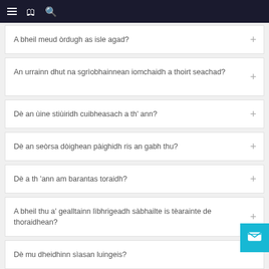Navigation header with menu, bookmark, and search icons
A bheil meud òrdugh as isle agad?
An urrainn dhut na sgrìobhainnean iomchaidh a thoirt seachad?
Dè an ùine stiùiridh cuibheasach a th' ann?
Dè an seòrsa dòighean pàighidh ris an gabh thu?
Dè a th 'ann am barantas toraidh?
A bheil thu a' gealltainn lìbhrigeadh sàbhailte is tèarainte de thoraidhean?
Dè mu dheidhinn sìasan luingeis?